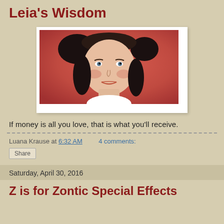Leia's Wisdom
[Figure (photo): Photo of Princess Leia (Carrie Fisher) in character, with iconic bun hairstyle, against a reddish-orange background]
If money is all you love, that is what you'll receive.
Luana Krause at 6:32 AM   4 comments:
Share
Saturday, April 30, 2016
Z is for Zontic Special Effects